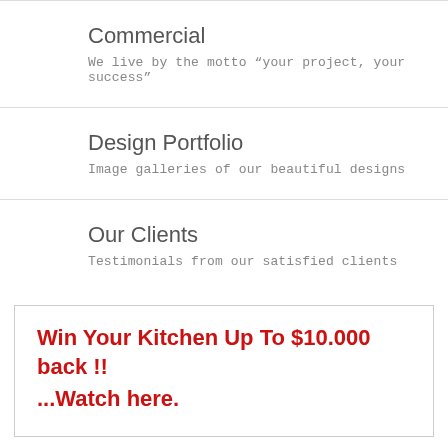Commercial
We live by the motto “your project, your success”
Design Portfolio
Image galleries of our beautiful designs
Our Clients
Testimonials from our satisfied clients
Win Your Kitchen Up To $10.000 back !! ...Watch here.